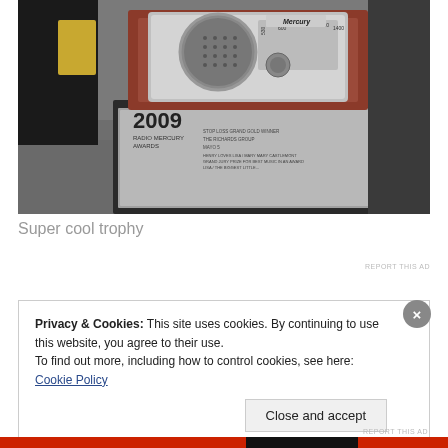[Figure (photo): A close-up of a 2009 Radio Mercury Awards trophy shaped like a vintage radio receiver on a dark pedestal base with engraved text on the silver plaque.]
Super cool trophy
REPORT THIS AD
Privacy & Cookies: This site uses cookies. By continuing to use this website, you agree to their use.
To find out more, including how to control cookies, see here: Cookie Policy
Close and accept